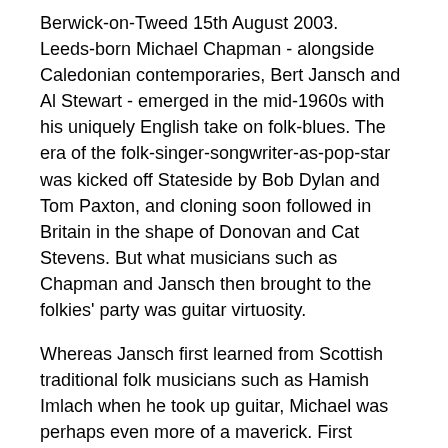Berwick-on-Tweed 15th August 2003. Leeds-born Michael Chapman - alongside Caledonian contemporaries, Bert Jansch and Al Stewart - emerged in the mid-1960s with his uniquely English take on folk-blues. The era of the folk-singer-songwriter-as-pop-star was kicked off Stateside by Bob Dylan and Tom Paxton, and cloning soon followed in Britain in the shape of Donovan and Cat Stevens. But what musicians such as Chapman and Jansch then brought to the folkies' party was guitar virtuosity.
Whereas Jansch first learned from Scottish traditional folk musicians such as Hamish Imlach when he took up guitar, Michael was perhaps even more of a maverick. First playing pubs in Hull and Leeds, the musical style he carved out for himself drew from American influences as wide-ranging as Charles Mingus and John Fahey. Add to this Chapman's very North of England sense of humour and view on life, and you have the artist Michael Chapman.
In fact, he was an art and photography lecturer in Bolton before deciding to give up the day job. This happened after a summer vacation spent in Cornwall where he made equally good money